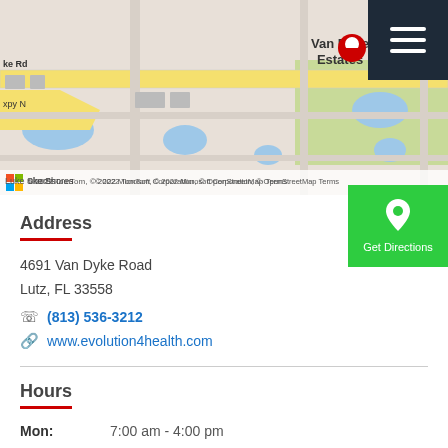[Figure (map): Bing map showing Van Dyke Estates area near Lutz, FL with a red map pin marker above the business location. Shows Van Dyke Rd, surrounding streets, water bodies. Copyright 2022 TomTom, Microsoft Corporation, OpenStreetMap.]
Address
4691 Van Dyke Road
Lutz, FL 33558
☏ (813) 536-3212
🔗 www.evolution4health.com
Hours
Mon: 7:00 am - 4:00 pm
Tue: 7:00 am - 4:00 pm
Wed: Closed
Thu: 10:00 am - 7:00 pm
Fri: 7:00 am - 4:00 pm